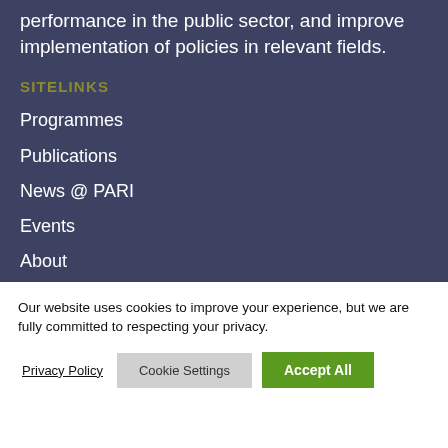performance in the public sector, and improve implementation of policies in relevant fields.
SITELINKS
Programmes
Publications
News @ PARI
Events
About
Our website uses cookies to improve your experience, but we are fully committed to respecting your privacy.
Privacy Policy  Cookie Settings  Accept All